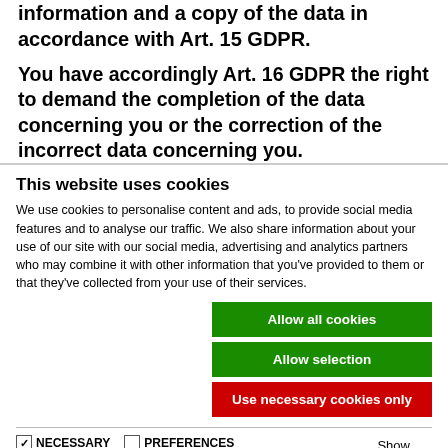information about this data as well as for further information and a copy of the data in accordance with Art. 15 GDPR.
You have accordingly Art. 16 GDPR the right to demand the completion of the data concerning you or the correction of the incorrect data concerning you.
This website uses cookies
We use cookies to personalise content and ads, to provide social media features and to analyse our traffic. We also share information about your use of our site with our social media, advertising and analytics partners who may combine it with other information that you've provided to them or that they've collected from your use of their services.
Allow all cookies
Allow selection
Use necessary cookies only
NECESSARY  PREFERENCES  STATISTICS  MARKETING  Show details